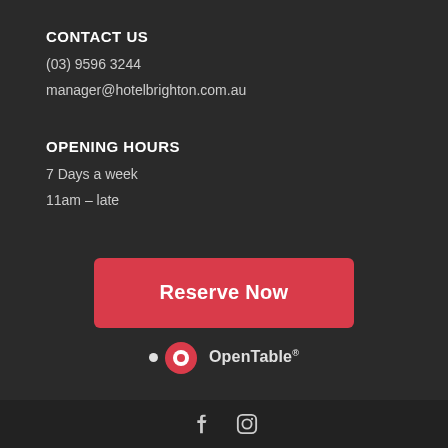CONTACT US
(03) 9596 3244
manager@hotelbrighton.com.au
OPENING HOURS
7 Days a week
11am – late
[Figure (other): Red 'Reserve Now' button with OpenTable logo below it]
Facebook and Instagram social media icons